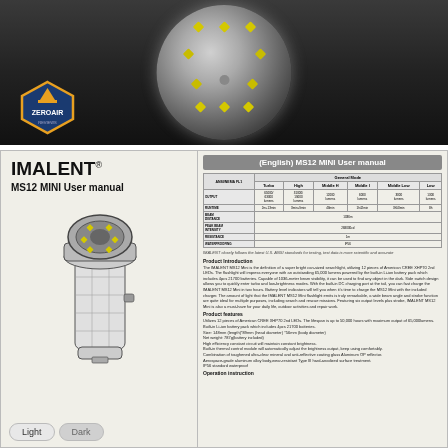[Figure (photo): Close-up photograph of an IMALENT MS12 MINI flashlight head showing LED clusters and lens, with ZeroAir logo watermark in lower left]
[Figure (illustration): Product manual page showing IMALENT MS12 MINI user manual with flashlight line drawing illustration and specification table alongside product introduction and features text]
IMALENT® MS12 MINI User manual
(English) MS12 MINI User manual
| ANSI/NEMA FL1 | General Mode - Turbo | General Mode - High | General Mode - Middle H | General Mode - Middle I | General Mode - Middle Low | General Mode - Low |
| --- | --- | --- | --- | --- | --- | --- |
| OUTPUT | 65000/63000 lumens | 31000/19000 lumens | 12000 lumens | 6000 lumens | 3000 lumens | 1300 lumens |
| RUNTIME | 2m+13min | 3min+9min | 48min | 1h42min | 3h50min | 8h |
| BEAM DISTANCE |  |  | 1036m |  |  |  |
| PEAK BEAM INTENSITY |  |  | 268000cd |  |  |  |
| RESISTANCE |  |  | 1m |  |  |  |
| WATERPROOFING |  |  | IP56 |  |  |  |
IMALENT closely follows the latest U.S. ANSI standards for testing, test data is more scientific and accurate
Product Introduction
The IMALENT MS12 Mini is the definition of a super bright can-sized searchlight, utilizing 12 pieces of American CREE XHP70 2nd LEDs. The flashlight will impress everyone with an outstanding 65,000 lumens powered by the built-in Li-ion battery pack which includes 4pcs 21700 batteries. Capable of 1036-meter beam visibility, it can be used to find any object in the dark. Side switch design allows you to quickly enter turbo and low-brightness modes. With the built-in DC charging port at the tail, you can fast charge the IMALENT MS12 Mini in two hours. Battery level indicators will tell you when it's time to charge the MS12 Mini with the included charger. The amount of light that the IMALENT MS12 Mini flashlight emits is truly remarkable, a wide beam angle and strobe function are quite ideal for multiple purposes, including search and rescue missions. Featuring six output levels plus strobe, IMALENT MS12 Mini is also a must-have for your daily life, outdoor activities and repair work.
Product features
Utilizes 12 pieces of American CREE XHP70 2nd LEDs. The lifespan is up to 50,000 hours with maximum output of 65,000lumens.
Built-in Li-ion battery pack which includes 4pcs 21700 batteries.
Size: 148mm (length)*89mm (head diameter) *56mm (body diameter)
Net weight: 787g(battery included)
High efficiency constant circuit will maintain constant brightness.
Built-in thermal control module will automatically adjust the brightness output, keep using comfortably.
Combination of toughened ultra-clear mineral and anti-reflective coating glass Aluminum OP reflector.
Aerospace-grade aluminum alloy body,wear-resistant Type III hard-anodized surface treatment.
IP56 standard waterproof
Operation instruction